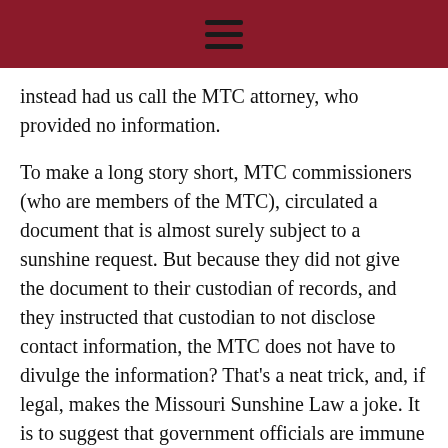≡
instead had us call the MTC attorney, who provided no information.
To make a long story short, MTC commissioners (who are members of the MTC), circulated a document that is almost surely subject to a sunshine request. But because they did not give the document to their custodian of records, and they instructed that custodian to not disclose contact information, the MTC does not have to divulge the information? That's a neat trick, and, if legal, makes the Missouri Sunshine Law a joke. It is to suggest that government officials are immune from Sunshine requests, as long as they don't give their documents or contact information to their custodian of documents. I'm not a lawyer, but I hope that this is not the case. As for the MTC, it's disappointing that the organization refuses to be open with the public.